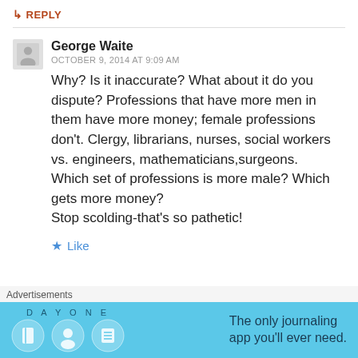↳ REPLY
George Waite
OCTOBER 9, 2014 AT 9:09 AM
Why? Is it inaccurate? What about it do you dispute? Professions that have more men in them have more money; female professions don't. Clergy, librarians, nurses, social workers vs. engineers, mathematicians,surgeons. Which set of professions is more male? Which gets more money? Stop scolding-that's so pathetic!
★ Like
Advertisements
[Figure (other): Day One journaling app advertisement banner with blue background, app icon, and text 'The only journaling app you'll ever need.']